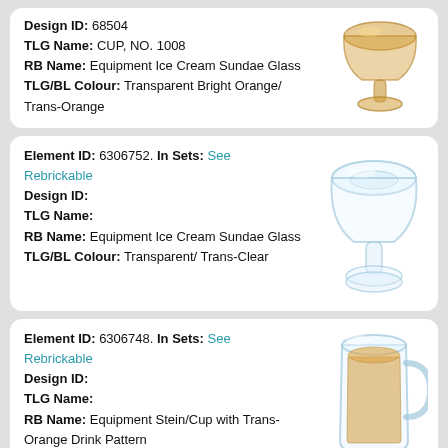Design ID: 68504
TLG Name: CUP, NO. 1008
RB Name: Equipment Ice Cream Sundae Glass
TLG/BL Colour: Transparent Bright Orange/ Trans-Orange
[Figure (photo): Transparent orange/gold sundae glass LEGO piece]
Element ID: 6306752. In Sets: See Rebrickable
Design ID:
TLG Name:
RB Name: Equipment Ice Cream Sundae Glass
TLG/BL Colour: Transparent/ Trans-Clear
[Figure (photo): Transparent clear sundae glass LEGO piece]
Element ID: 6306748. In Sets: See Rebrickable
Design ID:
TLG Name:
RB Name: Equipment Stein/Cup with Trans-Orange Drink Pattern
TLG/BL Colour: (cut off)
[Figure (photo): Transparent clear stein/cup LEGO piece with trans-orange insert]